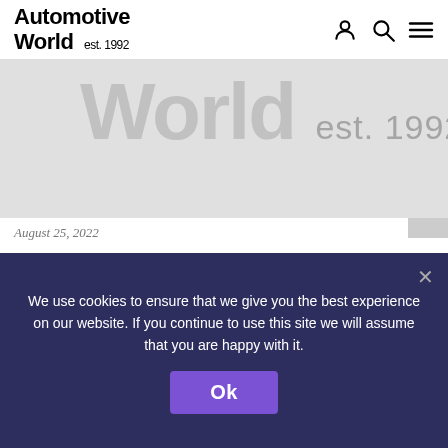Automotive World est. 1992
[Figure (logo): Automotive World website banner/watermark showing 'World est. 1992' in large grey text on a light grey background]
August 25, 2022
Chrysler brand charges up Electrify Expo New York
We use cookies to ensure that we give you the best experience on our website. If you continue to use this site we will assume that you are happy with it.
Ok